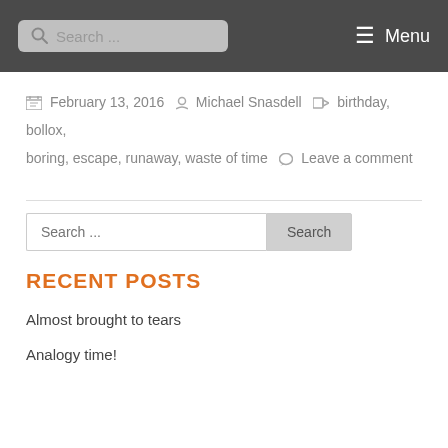Search ... Menu
February 13, 2016  Michael Snasdell  birthday, bollox, boring, escape, runaway, waste of time  Leave a comment
[Figure (other): Horizontal divider line]
Search ...  Search
RECENT POSTS
Almost brought to tears
Analogy time!